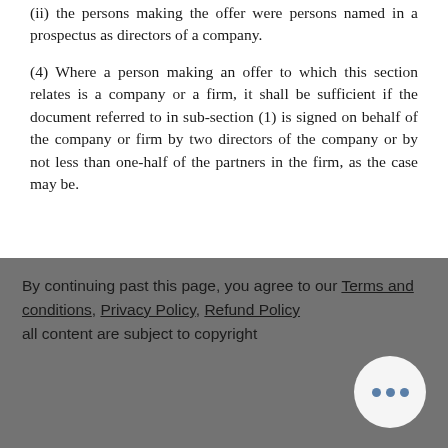(ii) the persons making the offer were persons named in a prospectus as directors of a company.
(4) Where a person making an offer to which this section relates is a company or a firm, it shall be sufficient if the document referred to in sub-section (1) is signed on behalf of the company or firm by two directors of the company or by not less than one-half of the partners in the firm, as the case may be.
By continuing past this page, you agree to our Terms and conditions, Privacy Policy, Refund Policy all content are subject to copyright